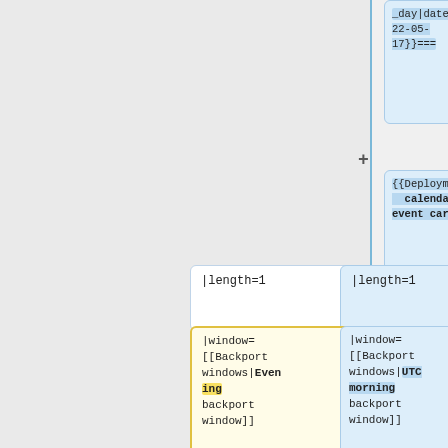_day|date=2022-05-17}}===
{{Deployment calendar event card
|when=2022-05-17 00:00 SF
|length=1
|length=1
|window=[[Backport windows|Evening backport window]]
|window=[[Backport windows|UTC morning backport window]]